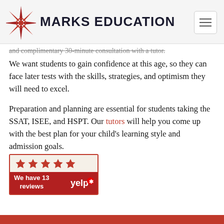MARKS EDUCATION
and complimentary 30-minute consultation with a tutor.
We want students to gain confidence at this age, so they can face later tests with the skills, strategies, and optimism they will need to excel.
Preparation and planning are essential for students taking the SSAT, ISEE, and HSPT. Our tutors will help you come up with the best plan for your child’s learning style and admission goals.
[Figure (other): Yelp badge showing 5 stars and 13 reviews]